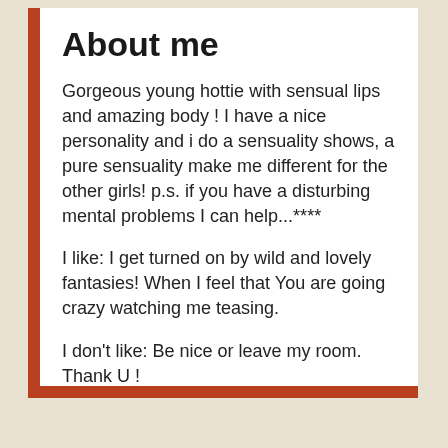About me
Gorgeous young hottie with sensual lips and amazing body ! I have a nice personality and i do a sensuality shows, a pure sensuality make me different for the other girls! p.s. if you have a disturbing mental problems I can help...****
I like: I get turned on by wild and lovely fantasies! When I feel that You are going crazy watching me teasing.
I don't like: Be nice or leave my room. Thank U !